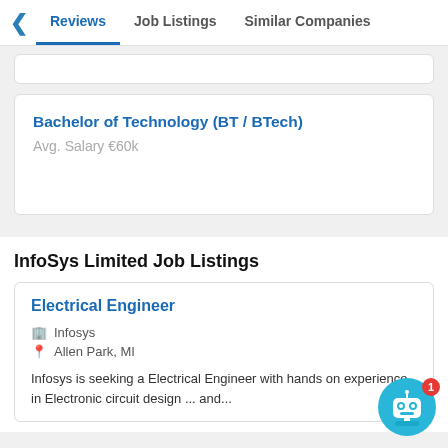Reviews | Job Listings | Similar Companies
Bachelor of Technology (BT / BTech)
Avg. Salary €60k
InfoSys Limited Job Listings
Electrical Engineer
Infosys
Allen Park, MI
Infosys is seeking a Electrical Engineer with hands on experience in Electronic circuit design ... and...